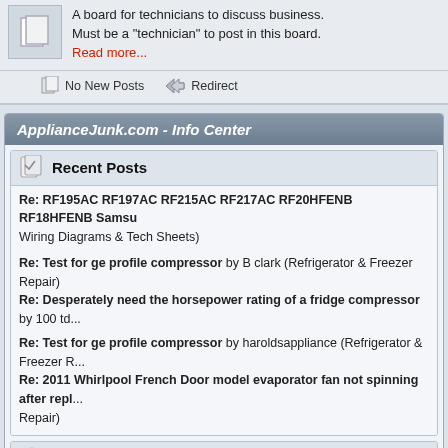A board for technicians to discuss business. Must be a "technician" to post in this board. Read more...
No New Posts   Redirect
ApplianceJunk.com - Info Center
Recent Posts
Re: RF195AC RF197AC RF215AC RF217AC RF20HFENB RF18HFENB Samsu... Wiring Diagrams & Tech Sheets)
Re: Test for ge profile compressor by B clark (Refrigerator & Freezer Repair)
Re: Desperately need the horsepower rating of a fridge compressor by 100 td...
Re: Test for ge profile compressor by haroldsappliance (Refrigerator & Freezer R...
Re: 2011 Whirlpool French Door model evaporator fan not spinning after repl... Repair)
Forum Stats
117955 Posts in 21613 Topics by 53298 Members. Latest Member: rdems... Latest Post: "Re: RF195AC RF197AC RF2..." ( August 19, 2022, 03:18:5... View the most recent posts on the forum. [More Stats]